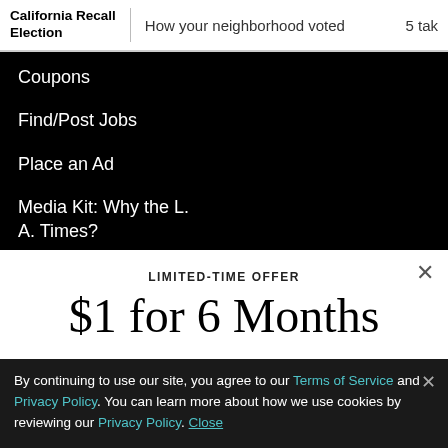California Recall Election | How your neighborhood voted  5 tak
Coupons
Find/Post Jobs
Place an Ad
Media Kit: Why the L.A. Times?
Bestcovery
LIMITED-TIME OFFER
$1 for 6 Months
SUBSCRIBE NOW
By continuing to use our site, you agree to our Terms of Service and Privacy Policy. You can learn more about how we use cookies by reviewing our Privacy Policy. Close